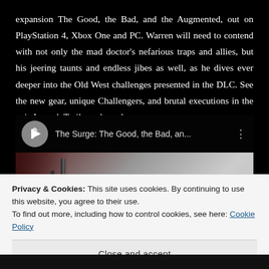expansion The Good, the Bad, and the Augmented, out on PlayStation 4, Xbox One and PC. Warren will need to contend with not only the mad doctor's nefarious traps and allies, but his jeering taunts and endless jibes as well, as he dives ever deeper into the Old West challenges presented in the DLC. See the new gear, unique Challengers, and brutal executions in the epic Launch Trailer, released.
[Figure (screenshot): Embedded video thumbnail for 'The Surge: The Good, the Bad, an...' with a channel icon on a dark bar at top, and a partially visible thumbnail showing a dark background with rods/weapons and a logo in the lower right corner.]
Privacy & Cookies: This site uses cookies. By continuing to use this website, you agree to their use.
To find out more, including how to control cookies, see here: Cookie Policy
Close and accept